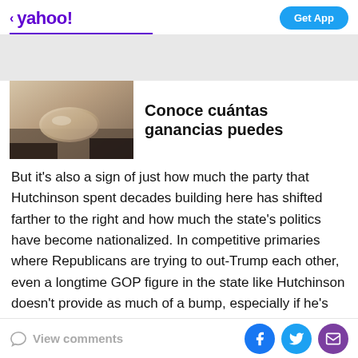< yahoo!    Get App
[Figure (photo): Car interior photo showing rearview mirror and ceiling, used as advertisement image]
Conoce cuántas ganancias puedes
But it's also a sign of just how much the party that Hutchinson spent decades building here has shifted farther to the right and how much the state's politics have become nationalized. In competitive primaries where Republicans are trying to out-Trump each other, even a longtime GOP figure in the state like Hutchinson doesn't provide as much of a bump, especially if he's not known for being very hard-edged.
View comments